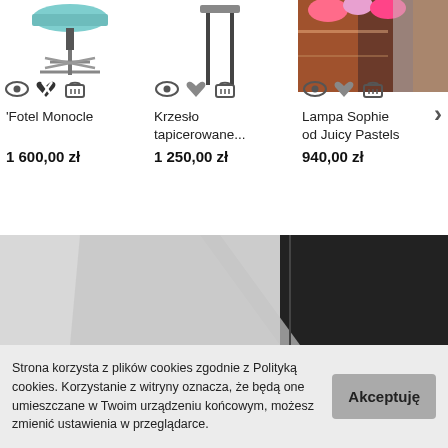[Figure (screenshot): Product thumbnail area with icons for view, wishlist, cart for Fotel Monocle]
'Fotel Monocle
1 600,00 zł
[Figure (screenshot): Product thumbnail area with icons for view, wishlist, cart for Krzesło tapicerowane...]
Krzesło tapicerowane...
1 250,00 zł
[Figure (screenshot): Product thumbnail area showing colorful lamp photo with icons for view, wishlist, cart for Lampa Sophie od Juicy Pastels]
Lampa Sophie od Juicy Pastels
940,00 zł
[Figure (photo): Gray/black abstract background photo banner]
Strona korzysta z plików cookies zgodnie z Polityką cookies. Korzystanie z witryny oznacza, że będą one umieszczane w Twoim urządzeniu końcowym, możesz zmienić ustawienia w przeglądarce.